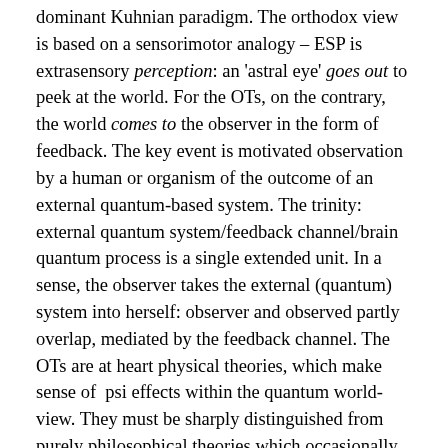dominant Kuhnian paradigm. The orthodox view is based on a sensorimotor analogy – ESP is extrasensory perception: an 'astral eye' goes out to peek at the world. For the OTs, on the contrary, the world comes to the observer in the form of feedback. The key event is motivated observation by a human or organism of the outcome of an external quantum-based system. The trinity: external quantum system/feedback channel/brain quantum process is a single extended unit. In a sense, the observer takes the external (quantum) system into herself: observer and observed partly overlap, mediated by the feedback channel. The OTs are at heart physical theories, which make sense of  psi effects within the quantum world-view. They must be sharply distinguished from purely philosophical theories which occasionally use the designation 'observational'.
For JB Rhine, psi was above all 'non-physical'. Whereas OT does not fit into the world-view of classical physics